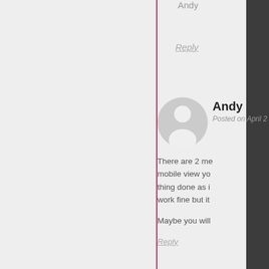Andy
Reply
Andy
Posted on April 2
There are 2 me mobile view you thing done as in work fine but it
Maybe you will
Reply
malihu
Posted on April 2
I think the prob